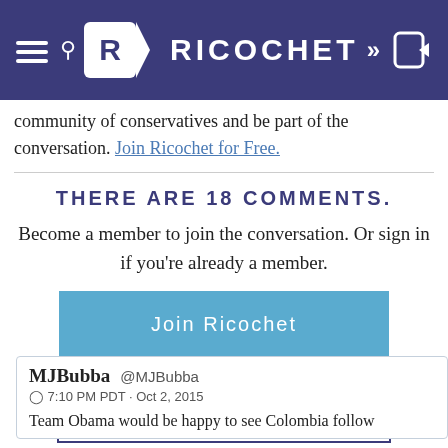RICOCHET
community of conservatives and be part of the conversation. Join Ricochet for Free.
THERE ARE 18 COMMENTS.
Become a member to join the conversation. Or sign in if you're already a member.
Join Ricochet
Login
MJBubba @MJBubba
7:10 PM PDT · Oct 2, 2015

Team Obama would be happy to see Colombia follow...